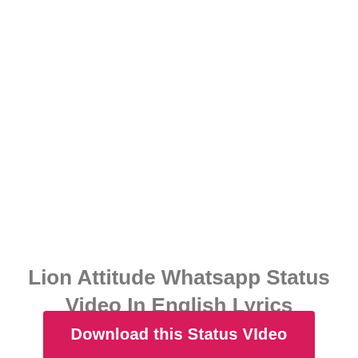Lion Attitude Whatsapp Status Video In English Lyrics
Download this Status VIdeo